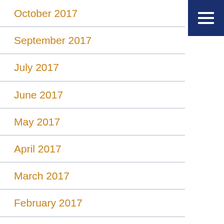October 2017
September 2017
July 2017
June 2017
May 2017
April 2017
March 2017
February 2017
January 2017
November 2016
October 2016
August 2016